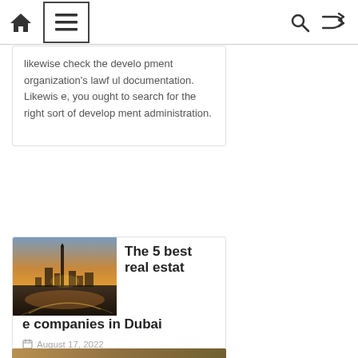Home | Menu | Search | Shuffle
likewise check the development organization's lawful documentation. Likewise, you ought to search for the right sort of development administration.
[Figure (photo): Aerial/skyline photo of Dubai at sunset with Burj Khalifa and highway interchange visible, warm orange and golden tones]
The 5 best real estate companies in Dubai
August 17, 2022